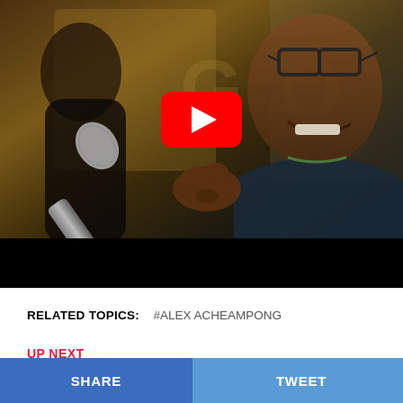[Figure (screenshot): YouTube video embed showing a person singing into a microphone, smiling, wearing glasses. A large red YouTube play button is visible in the center of the video. The lower portion of the video frame is black (letterbox).]
RELATED TOPICS:   #ALEX ACHEAMPONG
UP NEXT
SHARE   TWEET   •••